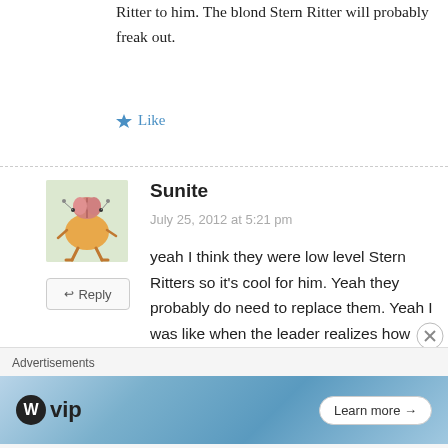Ritter to him. The blond Stern Ritter will probably freak out.
Like
[Figure (illustration): Avatar icon showing a cartoon creature with a brain on top, orange body, and stick legs on a light green background]
Reply
Sunite
July 25, 2012 at 5:21 pm
yeah I think they were low level Stern Ritters so it's cool for him. Yeah they probably do need to replace them. Yeah I was like when the leader realizes how powerful Zaraki is, he'll blow him away! Even knowing that he hasn't got a Bankai or Shikai will terrify him lol. The blond dude will
Advertisements